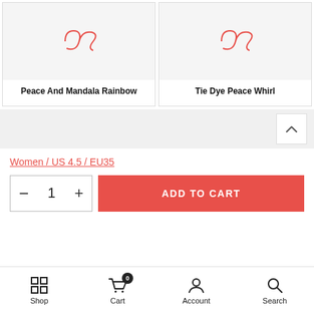[Figure (screenshot): Product card for 'Peace And Mandala Rainbow' with peace/infinity symbol logo in red on light grey background]
Peace And Mandala Rainbow
[Figure (screenshot): Product card for 'Tie Dye Peace Whirl' with peace/infinity symbol logo in red on light grey background]
Tie Dye Peace Whirl
Women / US 4.5 / EU35
ADD TO CART
Shop  Cart  Account  Search